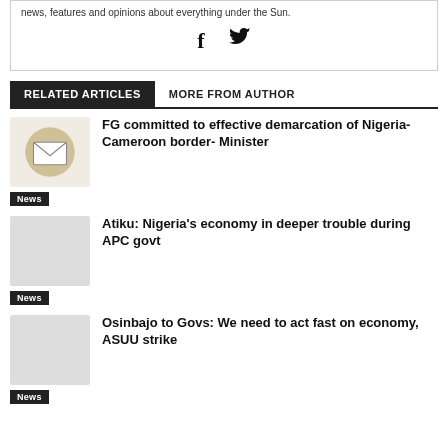news, features and opinions about everything under the Sun.
[Figure (other): Social media icons: Facebook (f) and Twitter (bird)]
RELATED ARTICLES
MORE FROM AUTHOR
[Figure (illustration): Envelope icon with gold/beige circle background]
FG committed to effective demarcation of Nigeria-Cameroon border- Minister
News
[Figure (photo): Article thumbnail placeholder]
Atiku: Nigeria's economy in deeper trouble during APC govt
News
[Figure (photo): Article thumbnail placeholder]
Osinbajo to Govs: We need to act fast on economy, ASUU strike
News